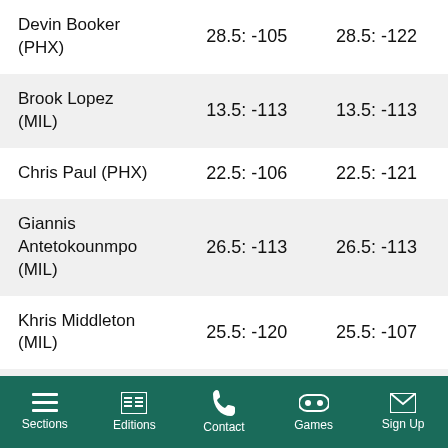| Player | Odds 1 | Odds 2 |
| --- | --- | --- |
| Devin Booker (PHX) | 28.5: -105 | 28.5: -122 |
| Brook Lopez (MIL) | 13.5: -113 | 13.5: -113 |
| Chris Paul (PHX) | 22.5: -106 | 22.5: -121 |
| Giannis Antetokounmpo (MIL) | 26.5: -113 | 26.5: -113 |
| Khris Middleton (MIL) | 25.5: -120 | 25.5: -107 |
| Mikal Bridges (PHX) | 10.5: -125 | 10.5: -103 |
Sections  Editions  Contact  Games  Sign Up